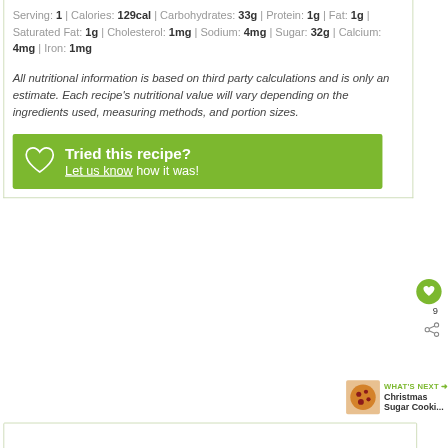Serving: 1 | Calories: 129cal | Carbohydrates: 33g | Protein: 1g | Fat: 1g | Saturated Fat: 1g | Cholesterol: 1mg | Sodium: 4mg | Sugar: 32g | Calcium: 4mg | Iron: 1mg
All nutritional information is based on third party calculations and is only an estimate. Each recipe's nutritional value will vary depending on the ingredients used, measuring methods, and portion sizes.
Tried this recipe? Let us know how it was!
WHAT'S NEXT → Christmas Sugar Cooki...